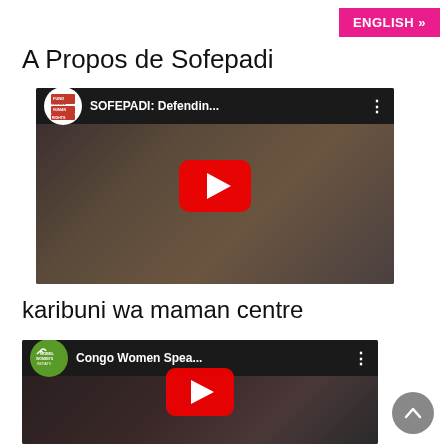ENGLISH »
A Propos de Sofepadi
[Figure (screenshot): YouTube video thumbnail: SOFEPADI: Defendin... with Fund for Global Human Rights logo and red play button]
karibuni wa maman centre
[Figure (screenshot): YouTube video thumbnail: Congo Women Spea... with Nobel Women's Initiative logo and red play button]